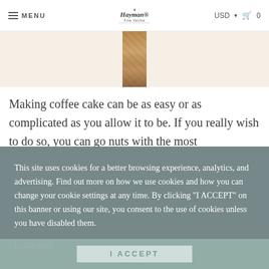MENU | Hayman Fine Vanilla | USD 0
[Figure (photo): Partial view of coffee cake food photo at top of page]
Making coffee cake can be as easy or as complicated as you allow it to be. If you really wish to do so, you can go nuts with the most
This site uses cookies for a better browsing experience, analytics, and advertising. Find out more on how we use cookies and how you can change your cookie settings at any time. By clicking "I ACCEPT" on this banner or using our site, you consent to the use of cookies unless you have disabled them.
Learn more
I ACCEPT
May 17, 2021